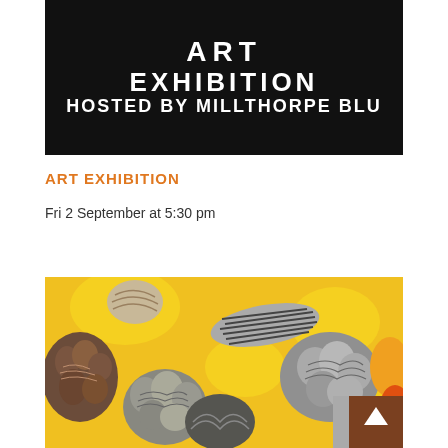[Figure (photo): Black background banner image with white bold text reading 'ART EXHIBITION HOSTED BY MILLTHORPE BLU' (text cropped at right edge)]
ART EXHIBITION
Fri 2 September at 5:30 pm
[Figure (photo): Close-up artwork image showing decorative coral/shell-like forms in grey, brown and white on a bright yellow background, with striped and patterned organic shapes filling the frame]